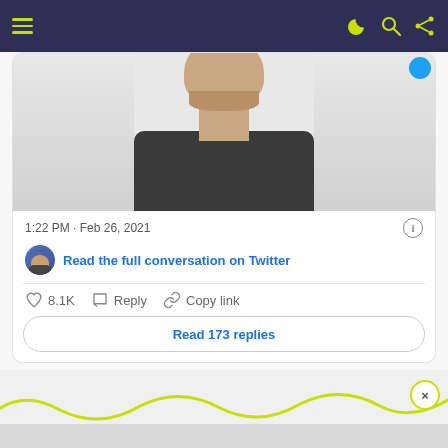Navigation bar with hamburger menu and icons
[Figure (screenshot): Cropped photo of a man in a dark grey t-shirt against a white background, partially cut off showing neck and shoulders]
1:22 PM · Feb 26, 2021
Read the full conversation on Twitter
8.1K  Reply  Copy link
Read 173 replies
[Figure (other): Bottom banner with yellow-green squiggly line decoration, close button with X, and partial text strip at bottom]